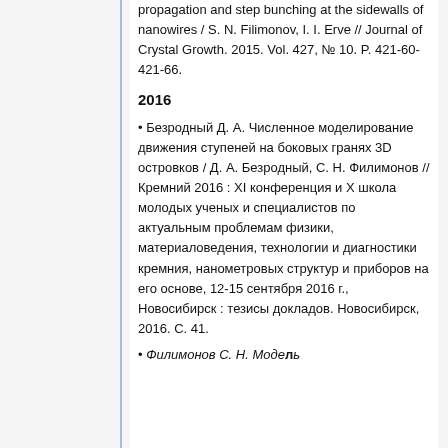propagation and step bunching at the sidewalls of nanowires / S. N. Filimonov, I. I. Erve // Journal of Crystal Growth. 2015. Vol. 427, № 10. P. 421-60-421-66.
2016
• Безродный Д. А. Численное моделирование движения ступеней на боковых гранях 3D островков / Д. А. Безродный, С. Н. Филимонов // Кремний 2016 : XI конференция и X школа молодых ученых и специалистов по актуальным проблемам физики, материаловедения, технологии и диагностики кремния, нанометровых структур и приборов на его основе, 12-15 сентября 2016 г., Новосибирск : тезисы докладов. Новосибирск, 2016. С. 41.
• Филимонов С. Н. Модель...